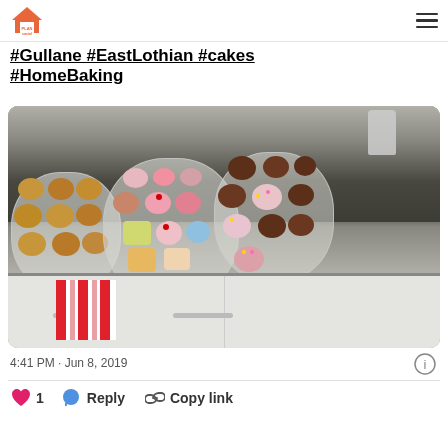Plan Social — navigation bar with logo and hamburger menu
#Gullane #EastLothian #cakes #HomeBaking
[Figure (photo): Three silver foil trays of homemade baked goods on a dark kitchen counter: left tray has plain muffins, middle tray has assorted iced cupcakes and cakes with cherries, right tray has chocolate and sprinkle-topped cupcakes. A red-striped tea towel hangs from an oven drawer handle below.]
4:41 PM · Jun 8, 2019
❤ 1   Reply   Copy link